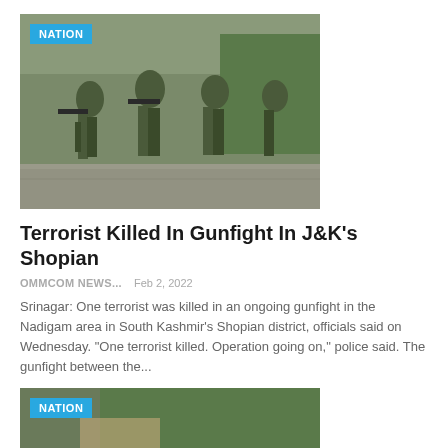[Figure (photo): Soldiers in camouflage military gear walking in a group, carrying weapons, on a wet road. A 'NATION' badge is overlaid on the top-left corner.]
Terrorist Killed In Gunfight In J&K's Shopian
OMMCOM NEWS...   Feb 2, 2022
Srinagar: One terrorist was killed in an ongoing gunfight in the Nadigam area in South Kashmir's Shopian district, officials said on Wednesday. "One terrorist killed. Operation going on," police said. The gunfight between the...
[Figure (photo): Military soldiers in camouflage uniforms walking along a street lined with trees. A 'NATION' badge is overlaid on the top-left corner.]